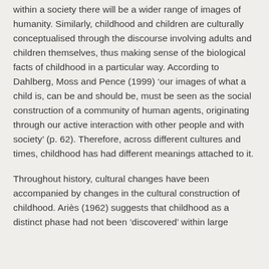within a society there will be a wider range of images of humanity. Similarly, childhood and children are culturally conceptualised through the discourse involving adults and children themselves, thus making sense of the biological facts of childhood in a particular way. According to Dahlberg, Moss and Pence (1999) ‘our images of what a child is, can be and should be, must be seen as the social construction of a community of human agents, originating through our active interaction with other people and with society’ (p. 62). Therefore, across different cultures and times, childhood has had different meanings attached to it.
Throughout history, cultural changes have been accompanied by changes in the cultural construction of childhood. Ariès (1962) suggests that childhood as a distinct phase had not been ‘discovered’ within large